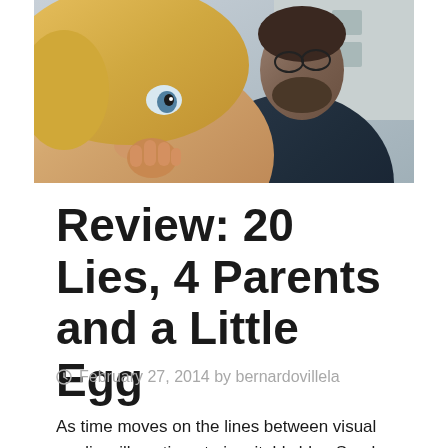[Figure (photo): Two people photographed close-up: a young person with blonde hair on the left in the foreground, and a bearded man in a dark shirt on the right in the background.]
Review: 20 Lies, 4 Parents and a Little Egg
February 27, 2014 by bernardovillela
As time moves on the lines between visual media will continue to inevitably blur. Surely